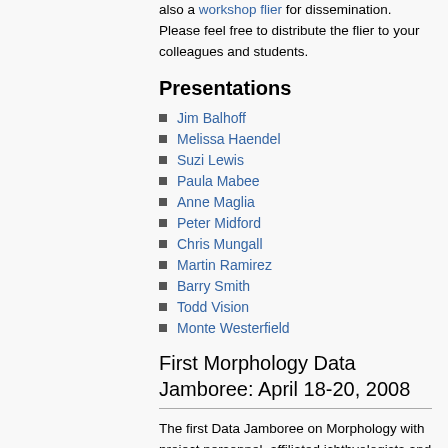also a workshop flier for dissemination. Please feel free to distribute the flier to your colleagues and students.
Presentations
Jim Balhoff
Melissa Haendel
Suzi Lewis
Paula Mabee
Anne Maglia
Peter Midford
Chris Mungall
Martin Ramirez
Barry Smith
Todd Vision
Monte Westerfield
First Morphology Data Jamboree: April 18-20, 2008
The first Data Jamboree on Morphology with project personnel, affiliated ichthyologists and curators, and external advisors was held at NESCent on April 18-20, 2008.